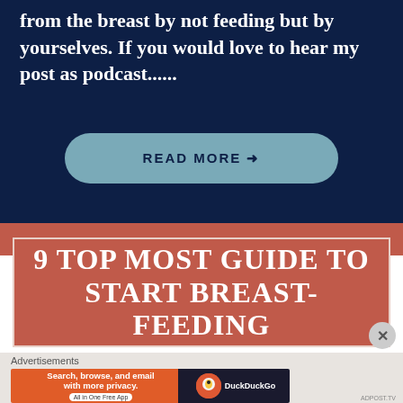from the breast by not feeding but by yourselves. If you would love to hear my post as podcast......
READ MORE →
9 TOP MOST GUIDE TO START BREAST-FEEDING
Advertisements
[Figure (screenshot): DuckDuckGo advertisement banner: Search, browse, and email with more privacy. All in One Free App. DuckDuckGo logo.]